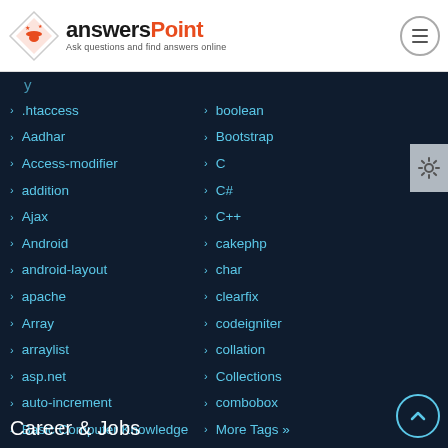[Figure (logo): AnswersPoint logo with diamond icon and tagline 'Ask questions and find answers online']
.htaccess
Aadhar
Access-modifier
addition
Ajax
Android
android-layout
apache
Array
arraylist
asp.net
auto-increment
Basic Computer Knowledge
boolean
Bootstrap
C
C#
C++
cakephp
char
clearfix
codeigniter
collation
Collections
combobox
More Tags »
Career & Jobs